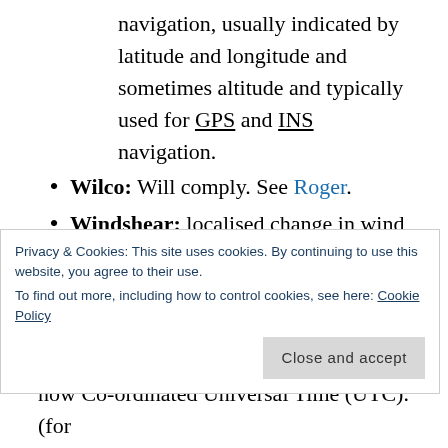navigation, usually indicated by latitude and longitude and sometimes altitude and typically used for GPS and INS navigation.
Wilco: Will comply. See Roger.
Windshear: localised change in wind speed and/or direction over a short distance, resulting in a tearing or shearing effect, usually at low altitude, that can cause a sudden loss of airspeed with occasionally disastrous results if encountered when taking-off or landing.
Privacy & Cookies: This site uses cookies. By continuing to use this website, you agree to their use.
To find out more, including how to control cookies, see here: Cookie Policy
now Co-ordinated Universal Time (UTC). (for